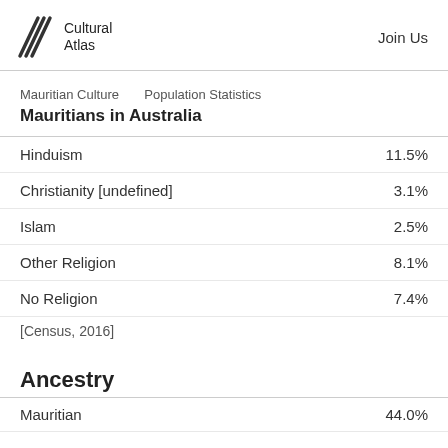Cultural Atlas  Join Us
Mauritian Culture   Population Statistics
Mauritians in Australia
| Religion | Percentage |
| --- | --- |
| Hinduism | 11.5% |
| Christianity [undefined] | 3.1% |
| Islam | 2.5% |
| Other Religion | 8.1% |
| No Religion | 7.4% |
[Census, 2016]
Ancestry
| Ancestry | Percentage |
| --- | --- |
| Mauritian | 44.0% |